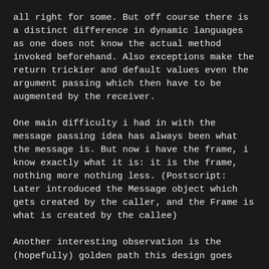all right for some. But off course there is a distinct difference in dynamic languages as one does not know the actual method invoked beforehand. Also exceptions make the return trickier and default values even the argument passing which then have to be augmented by the receiver.
One main difficulty i had in with the message passing idea has always been what the message is. But now i have the frame, i know exactly what it is: it is the frame, nothing more nothing less. (Postscript: Later introduced the Message object which gets created by the caller, and the Frame is what is created by the callee)
Another interesting observation is the (hopefully) golden path this design goes